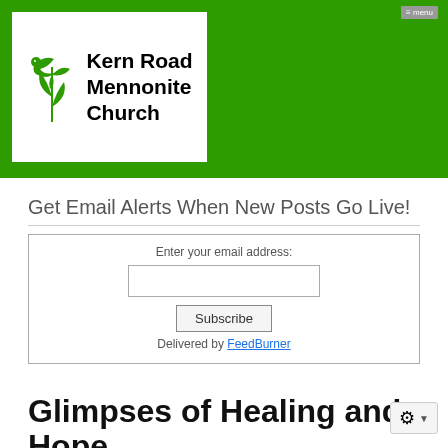[Figure (logo): Kern Road Mennonite Church logo with green bird/dove and leaf motif on white background, inside green header bar]
Get Email Alerts When New Posts Go Live!
Enter your email address:
Subscribe
Delivered by FeedBurner
Glimpses of Healing and Hope
The contemplative way, one of six